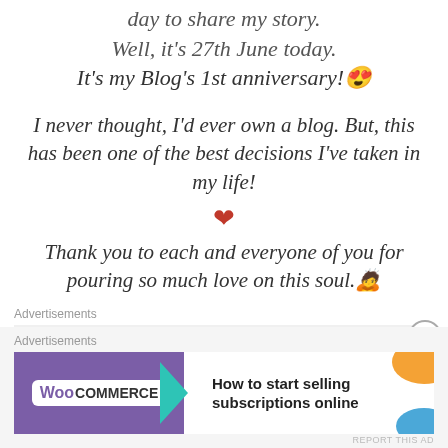day to share my story.
Well, it's 27th June today.
It's my Blog's 1st anniversary! 😊
I never thought, I'd ever own a blog. But, this has been one of the best decisions I've taken in my life!
❤
Thank you to each and everyone of you for pouring so much love on this soul. 😇
Advertisements
[Figure (screenshot): P2 advertisement banner: logo with 'P2' text, headline 'Getting your team on the same page is easy. And free.']
REPORT THIS AD
Advertisements
[Figure (screenshot): WooCommerce advertisement: purple WooCommerce logo with teal arrow, orange and blue decorative shapes, text 'How to start selling subscriptions online']